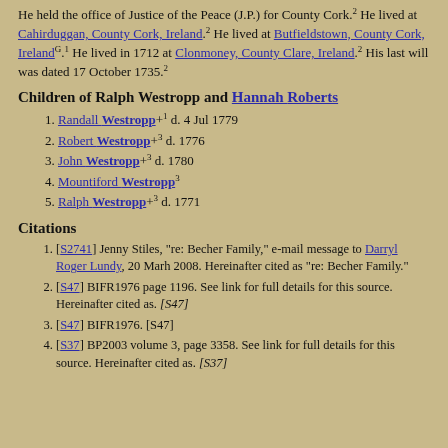He held the office of Justice of the Peace (J.P.) for County Cork.2 He lived at Cahirduggan, County Cork, Ireland.2 He lived at Butfieldstown, County Cork, IrelandG.1 He lived in 1712 at Clonmoney, County Clare, Ireland.2 His last will was dated 17 October 1735.2
Children of Ralph Westropp and Hannah Roberts
Randall Westropp+1 d. 4 Jul 1779
Robert Westropp+3 d. 1776
John Westropp+3 d. 1780
Mountiford Westropp3
Ralph Westropp+3 d. 1771
Citations
[S2741] Jenny Stiles, "re: Becher Family," e-mail message to Darryl Roger Lundy, 20 Marh 2008. Hereinafter cited as "re: Becher Family."
[S47] BIFR1976 page 1196. See link for full details for this source. Hereinafter cited as. [S47]
[S47] BIFR1976. [S47]
[S37] BP2003 volume 3, page 3358. See link for full details for this source. Hereinafter cited as. [S37]